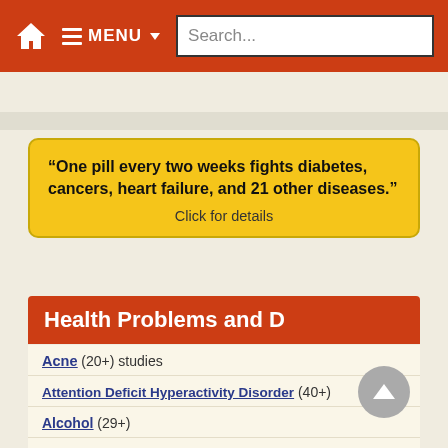🏠 MENU ▾ Search...
“One pill every two weeks fights diabetes, cancers, heart failure, and 21 other diseases.”  Click for details
Health Problems and D
Acne (20+) studies
Attention Deficit Hyperactivity Disorder (40+)
Alcohol (29+)
Allergy Overview
Amyotrophic Lateral Sclerosis (30+)
Alzheimer's Overview